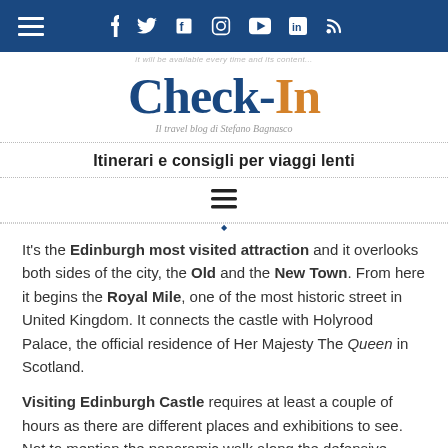Navigation bar with hamburger menu and social icons (Facebook, Twitter, Flipboard, Instagram, YouTube, LinkedIn, RSS)
Check-In — Il travel blog di Stefano Bagnasco
Itinerari e consigli per viaggi lenti
It's the Edinburgh most visited attraction and it overlooks both sides of the city, the Old and the New Town. From here it begins the Royal Mile, one of the most historic street in United Kingdom. It connects the castle with Holyrood Palace, the official residence of Her Majesty The Queen in Scotland.
Visiting Edinburgh Castle requires at least a couple of hours as there are different places and exhibitions to see. Not to mention the panoramic walk along the defensive